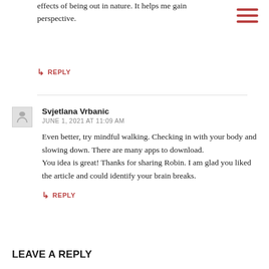effects of being out in nature. It helps me gain perspective.
↳ REPLY
Svjetlana Vrbanic
JUNE 1, 2021 AT 11:09 AM
Even better, try mindful walking. Checking in with your body and slowing down. There are many apps to download.
You idea is great! Thanks for sharing Robin. I am glad you liked the article and could identify your brain breaks.
↳ REPLY
LEAVE A REPLY